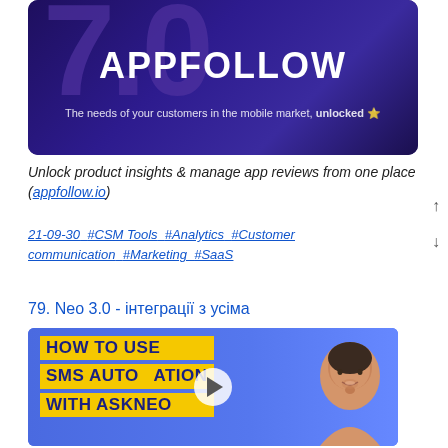[Figure (illustration): AppFollow 7.0 banner with dark purple background, large '7.0' text, 'APPFOLLOW' title, and tagline 'The needs of your customers in the mobile market, unlocked ⭐']
Unlock product insights & manage app reviews from one place (appfollow.io)
21-09-30 #CSM Tools #Analytics #Customer communication #Marketing #SaaS
79. Neo 3.0 - інтеграції з усіма
[Figure (screenshot): Video thumbnail for 'HOW TO USE SMS AUTOMATION WITH ASKNEO' with a smiling man on blue background and yellow text blocks, with a play button overlay]